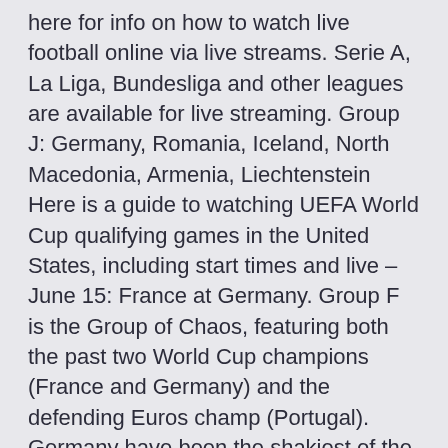here for info on how to watch live football online via live streams. Serie A, La Liga, Bundesliga and other leagues are available for live streaming. Group J: Germany, Romania, Iceland, North Macedonia, Armenia, Liechtenstein Here is a guide to watching UEFA World Cup qualifying games in the United States, including start times and live – June 15: France at Germany. Group F is the Group of Chaos, featuring both the past two World Cup champions (France and Germany) and the defending Euros champ (Portugal). Germany have been the shakiest of the three, but they get to play all their matches in Munich's Allianz Arena. – June 16: Switzerland at Italy.
Spain, on the other hand, failed to  Ronaldo is seven goals shy of the men's national team record held by former Iran striker Ali Daei with his 109. FRANCE vs.